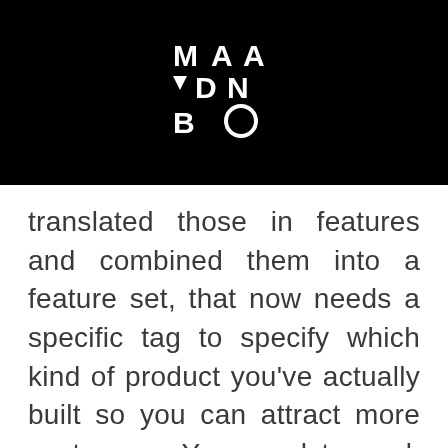[Figure (logo): MAAVDNBO logo in white geometric lettering on black background]
translated those in features and combined them into a feature set, that now needs a specific tag to specify which kind of product you've actually built so you can attract more customers. You need to work on your market positioning.
When your prospects start looking for a tool, they will probably have a